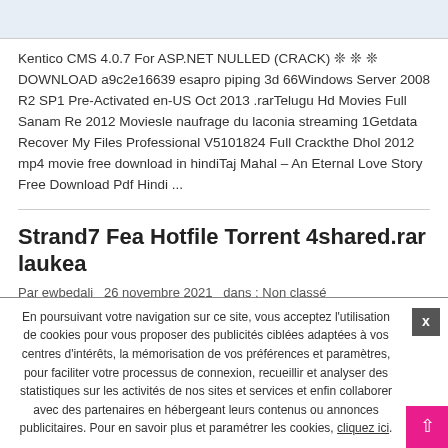[Figure (photo): Partial image visible at top of page, light blue-grey tones]
Kentico CMS 4.0.7 For ASP.NET NULLED (CRACK) ❊ ❊ ❊ DOWNLOAD a9c2e16639 esapro piping 3d 66Windows Server 2008 R2 SP1 Pre-Activated en-US Oct 2013 .rarTelugu Hd Movies Full Sanam Re 2012 Moviesle naufrage du laconia streaming 1Getdata Recover My Files Professional V5101824 Full Crackthe Dhol 2012 mp4 movie free download in hindiTaj Mahal – An Eternal Love Story Free Download Pdf Hindi ...
Strand7 Fea Hotfile Torrent 4shared.rar laukea
Par ewbedali   26 novembre 2021   dans : Non classé
En poursuivant votre navigation sur ce site, vous acceptez l'utilisation de cookies pour vous proposer des publicités ciblées adaptées à vos centres d'intérêts, la mémorisation de vos préférences et paramètres, pour faciliter votre processus de connexion, recueillir et analyser des statistiques sur les activités de nos sites et services et enfin collaborer avec des partenaires en hébergeant leurs contenus ou annonces publicitaires. Pour en savoir plus et paramétrer les cookies, cliquez ici.